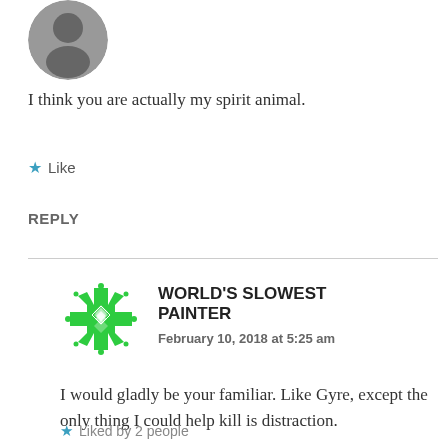[Figure (photo): Circular avatar photo of a person, partially cut off at top]
I think you are actually my spirit animal.
★ Like
REPLY
[Figure (logo): Green geometric snowflake/quilt pattern avatar for World's Slowest Painter]
WORLD'S SLOWEST PAINTER
February 10, 2018 at 5:25 am
I would gladly be your familiar. Like Gyre, except the only thing I could help kill is distraction.
★ Liked by 2 people